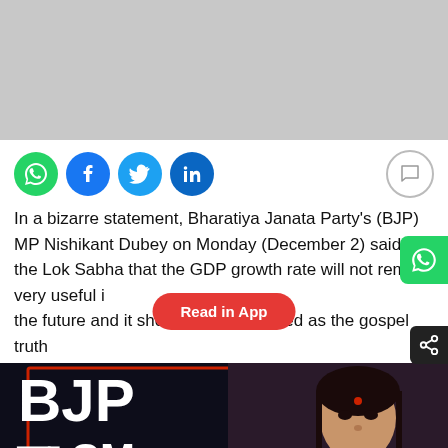[Figure (other): Gray advertisement banner placeholder at top of page]
[Figure (infographic): Social media sharing icons: WhatsApp (green), Facebook (blue), Twitter (light blue), LinkedIn (dark blue), and a comment bubble icon on the right]
In a bizarre statement, Bharatiya Janata Party's (BJP) MP Nishikant Dubey on Monday (December 2) said in the Lok Sabha that the GDP growth rate will not remain very useful in the future and it should not be treated as the gospel truth
[Figure (screenshot): News broadcast screenshot showing BJP text overlay in English and Hindi (BJP का CM) with a woman anchor visible on the right side, ZEE news logo in top right, dark background]